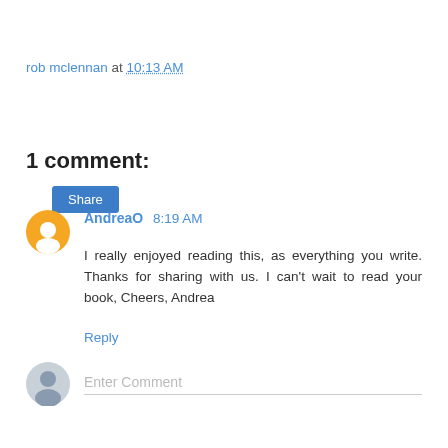rob mclennan at 10:13 AM
Share
1 comment:
AndreaO 8:19 AM
I really enjoyed reading this, as everything you write. Thanks for sharing with us. I can't wait to read your book, Cheers, Andrea
Reply
Enter Comment